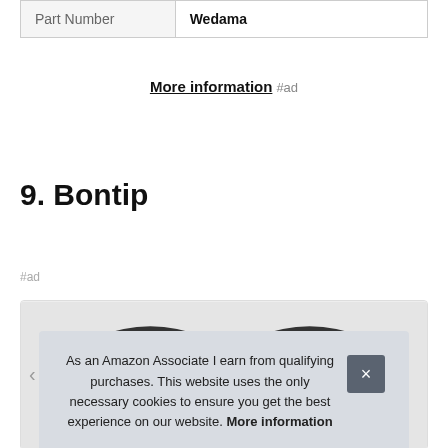| Part Number | Wedama |
| --- | --- |
More information #ad
9. Bontip
#ad
[Figure (photo): Product image showing shoes in a card layout]
As an Amazon Associate I earn from qualifying purchases. This website uses the only necessary cookies to ensure you get the best experience on our website. More information